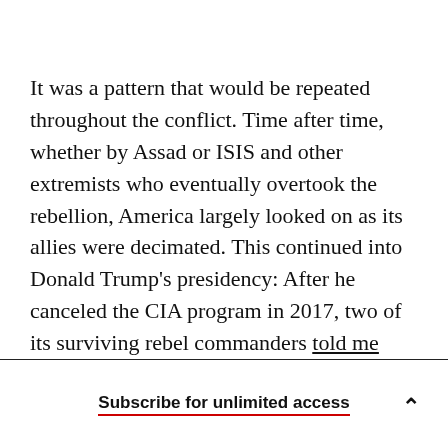It was a pattern that would be repeated throughout the conflict. Time after time, whether by Assad or ISIS and other extremists who eventually overtook the rebellion, America largely looked on as its allies were decimated. This continued into Donald Trump's presidency: After he canceled the CIA program in 2017, two of its surviving rebel commanders told me they'd learned the news from the media.
Subscribe for unlimited access